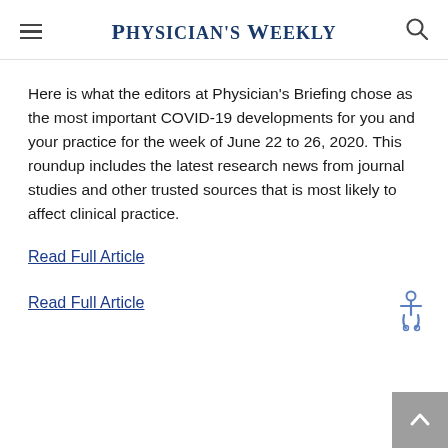Physician's Weekly
Here is what the editors at Physician's Briefing chose as the most important COVID-19 developments for you and your practice for the week of June 22 to 26, 2020. This roundup includes the latest research news from journal studies and other trusted sources that is most likely to affect clinical practice.
Read Full Article
Read Full Article